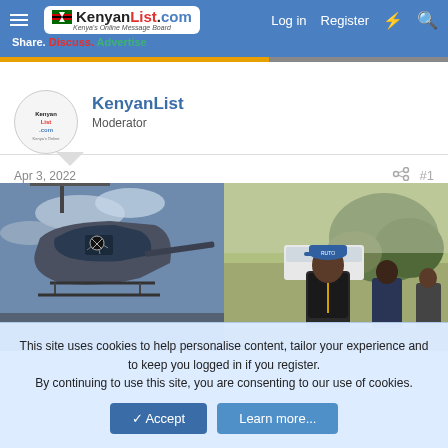KenyanList.com — Kenya's Online Message Board | Log in | Register
Share. Discuss. Advertise
[Figure (screenshot): User avatar showing KenyanList.com logo in a circle]
KenyanList
Moderator
Apr 3, 2022
#1
[Figure (photo): Two side-by-side photos: left shows a helicopter with a damaged/broken window on the pilot side; right shows a man in a blue cap and dark vest standing outdoors near a white vehicle with other people in background]
This site uses cookies to help personalise content, tailor your experience and to keep you logged in if you register.
By continuing to use this site, you are consenting to our use of cookies.
✓ Accept
Learn more...